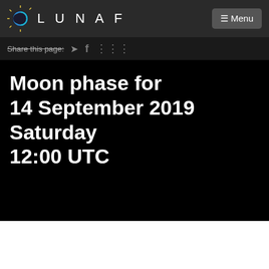LUNAF  Menu
Share this page:
Moon phase for 14 September 2019 Saturday 12:00 UTC